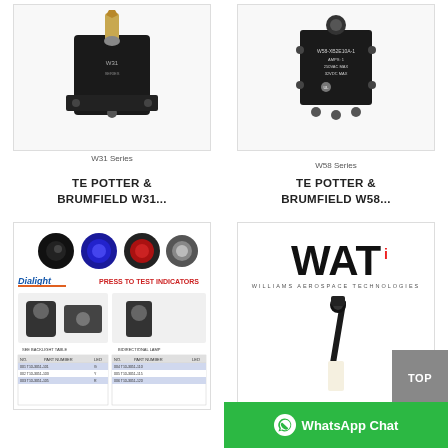[Figure (photo): TE Potter & Brumfield W31 Series circuit breaker with toggle switch, black rectangular component]
W31 Series
[Figure (photo): TE Potter & Brumfield W58 Series circuit breaker, small black square component with screw terminals]
W58 Series
TE POTTER &
BRUMFIELD W31...
TE POTTER &
BRUMFIELD W58...
[Figure (photo): Dialight Press to Test Indicators product sheet showing various indicator lamps and a data table with part numbers]
[Figure (photo): WAT (Williams Aerospace Technologies) logo and a black antenna/probe component]
TOP
WhatsApp Chat